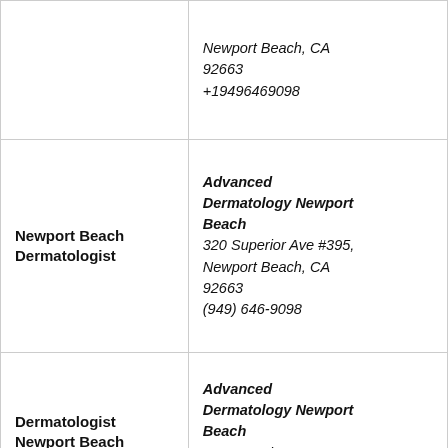|  | Newport Beach, CA
92663
+19496469098 |
| Newport Beach Dermatologist | Advanced Dermatology Newport Beach
320 Superior Ave #395, Newport Beach, CA 92663
(949) 646-9098 |
| Dermatologist Newport Beach | Advanced Dermatology Newport Beach
320 Superior Ave #395, Newport Beach, CA |